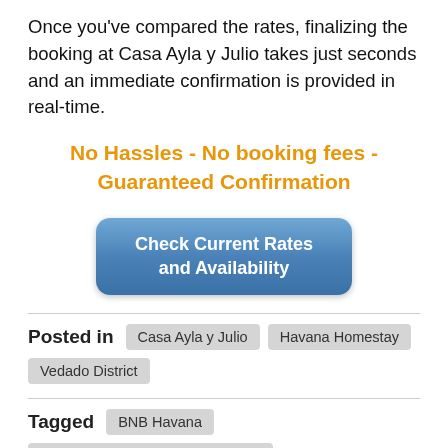Once you've compared the rates, finalizing the booking at Casa Ayla y Julio takes just seconds and an immediate confirmation is provided in real-time.
No Hassles - No booking fees - Guaranteed Confirmation
[Figure (other): Blue rounded button labeled 'Check Current Rates and Availability']
Posted in  Casa Ayla y Julio  Havana Homestay  Vedado District
Tagged  BNB Havana  Booking Casa Ayla y Julio Havana  Casa Ayla y Julio  Casa Ayla y Julio guest house Havana